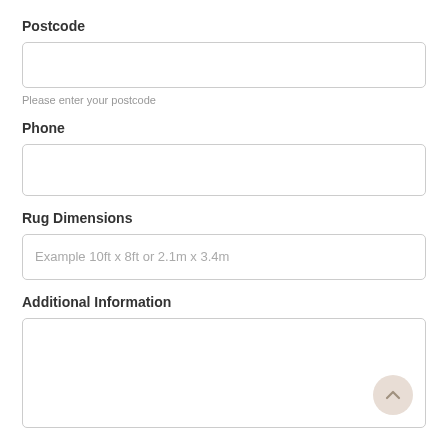Postcode
[Figure (other): Empty text input field for Postcode]
Please enter your postcode
Phone
[Figure (other): Empty text input field for Phone]
Rug Dimensions
[Figure (other): Text input field for Rug Dimensions with placeholder 'Example 10ft x 8ft or 2.1m x 3.4m']
Additional Information
[Figure (other): Large textarea for Additional Information with a scroll-to-top button in the bottom right corner]